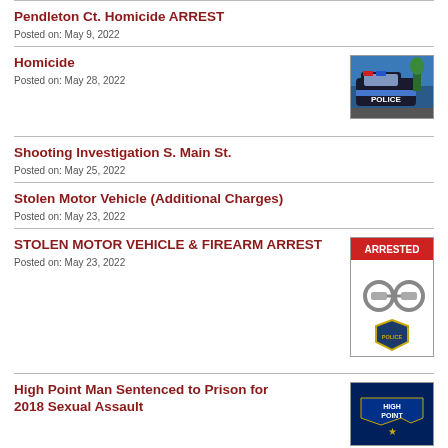Pendleton Ct. Homicide ARREST
Posted on: June 9, 2022
Homicide
Posted on: May 28, 2022
[Figure (photo): Police car thumbnail image]
Shooting Investigation S. Main St.
Posted on: May 25, 2022
Stolen Motor Vehicle (Additional Charges)
Posted on: May 23, 2022
STOLEN MOTOR VEHICLE & FIREARM ARREST
Posted on: May 23, 2022
[Figure (photo): Handcuffs with ARRESTED text and police badge]
High Point Man Sentenced to Prison for 2018 Sexual Assault
[Figure (photo): High Point police logo/badge]